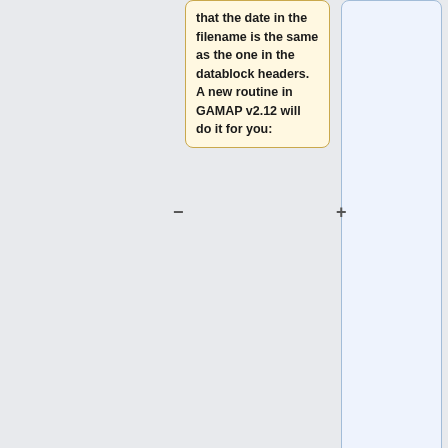that the date in the filename is the same as the one in the datablock headers. A new routine in GAMAP v2.12 will do it for you:
<tt>../gamap2/date_time/rewrite_agprod.pro</tt>
==== Regridding APROD/GPROD restart files ====